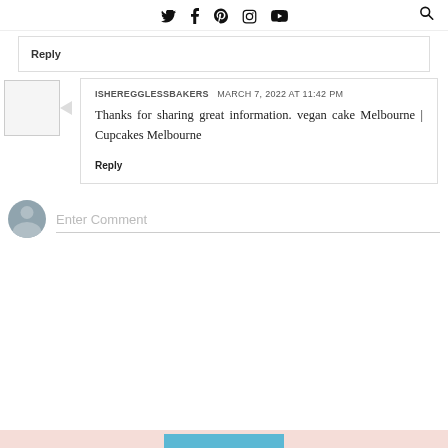Twitter Facebook Pinterest Instagram YouTube [Search]
Reply
ISHEREGGLESSBAKERS  MARCH 7, 2022 AT 11:42 PM
Thanks for sharing great information. vegan cake Melbourne | Cupcakes Melbourne
Reply
Enter Comment